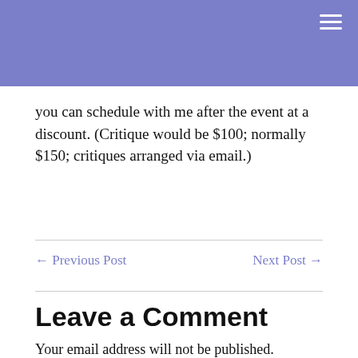you can schedule with me after the event at a discount. (Critique would be $100; normally $150; critiques arranged via email.)
← Previous Post    Next Post →
Leave a Comment
Your email address will not be published. Required fields